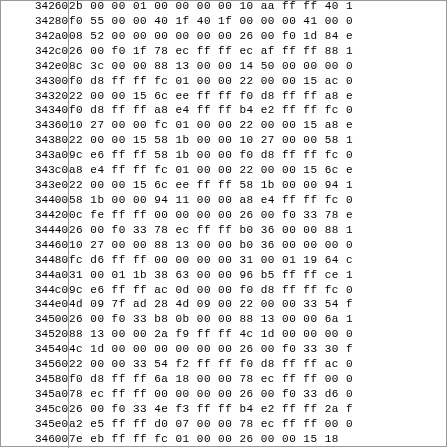| Address | Hex Data |
| --- | --- |
| 34260 | 2b 00 00 01 00 00 00 00 10 aa ff ff 40 1 |
| 34280 | f0 55 00 00 40 1f 40 1f 00 00 00 41 00 0 |
| 342a0 | 08 52 00 00 00 00 00 00 26 00 f0 1d 84 e |
| 342c0 | 26 00 f0 1f 78 ec ff ff ec af ff ff 88 1 |
| 342e0 | 8c 3c 00 00 88 13 00 00 14 50 00 00 00 0 |
| 34300 | f0 d8 ff ff fc 01 00 00 22 00 00 15 ac 0 |
| 34320 | 22 00 00 15 6c ee ff ff f0 d8 ff ff a8 e |
| 34340 | f0 d8 ff ff a8 e4 ff ff b4 e2 ff ff fc 0 |
| 34360 | 10 27 00 00 fc 01 00 00 22 00 00 15 a8 e |
| 34380 | 22 00 00 15 58 1b 00 00 10 27 00 00 58 1 |
| 343a0 | 9c e6 ff ff 58 1b 00 00 f0 d8 ff ff fc 0 |
| 343c0 | a8 e4 ff ff fc 01 00 00 22 00 00 15 6c e |
| 343e0 | 22 00 00 15 6c ee ff ff 58 1b 00 00 94 1 |
| 34400 | 58 1b 00 00 94 11 00 00 a8 e4 ff ff fc 0 |
| 34420 | 0c fe ff ff 00 00 00 00 26 00 f0 33 78 e |
| 34440 | 26 00 f0 33 78 ec ff ff b0 36 00 00 88 1 |
| 34460 | 10 27 00 00 88 13 00 00 b0 36 00 00 00 0 |
| 34480 | fc d6 ff ff 00 00 00 00 31 00 01 19 64 c |
| 344a0 | 31 00 01 1b 38 63 00 00 96 b5 ff ff ce 1 |
| 344c0 | 9c e6 ff ff ac 0d 00 00 f0 d8 ff ff fc 0 |
| 344e0 | 4d 09 7f ad 28 4d 09 00 22 00 00 33 54 f |
| 34500 | 26 00 f0 33 b8 0b 00 00 88 13 00 00 6a 1 |
| 34520 | 88 13 00 00 2a f9 ff ff 4c 1d 00 00 00 0 |
| 34540 | 4c 1d 00 00 00 00 00 00 26 00 f0 33 30 f |
| 34560 | 22 00 00 33 54 f2 ff ff f0 d8 ff ff ac 0 |
| 34580 | f0 d8 ff ff 6a 18 00 00 78 ec ff ff 00 0 |
| 345a0 | 78 ec ff ff 00 00 00 00 26 00 f0 33 d6 0 |
| 345c0 | 26 00 f0 33 4e f3 ff ff b4 e2 ff ff 2a f |
| 345e0 | a2 e5 ff ff d0 07 00 00 78 ec ff ff 00 0 |
| 34600 | 7e eb ff ff fc 01 00 00 26 00 00 15 18 |